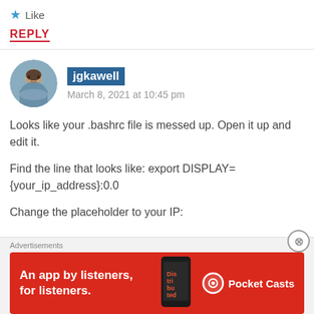★ Like
REPLY
jgkawell
March 8, 2021 at 10:45 pm
Looks like your .bashrc file is messed up. Open it up and edit it.
Find the line that looks like: export DISPLAY={your_ip_address}:0.0
Change the placeholder to your IP:
Advertisements
[Figure (infographic): Red advertisement banner for Pocket Casts app: 'An app by listeners, for listeners.' with phone image and Pocket Casts logo]